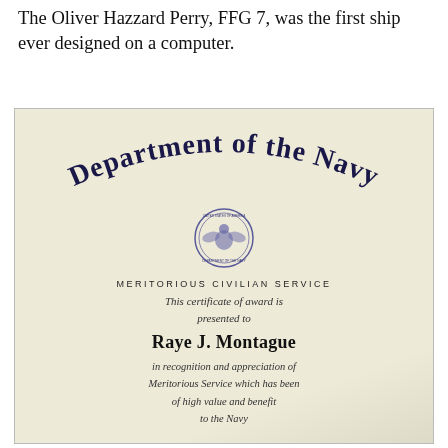The Oliver Hazzard Perry, FFG 7, was the first ship ever designed on a computer.
[Figure (photo): A Department of the Navy Meritorious Civilian Service certificate presented to Raye J. Montague, featuring blackletter heading, official seal, and cursive script text in recognition and appreciation of Meritorious Service.]